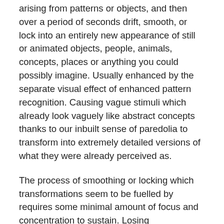arising from patterns or objects, and then over a period of seconds drift, smooth, or lock into an entirely new appearance of still or animated objects, people, animals, concepts, places or anything you could possibly imagine. Usually enhanced by the separate visual effect of enhanced pattern recognition. Causing vague stimuli which already look vaguely like abstract concepts thanks to our inbuilt sense of paredolia to transform into extremely detailed versions of what they were already perceived as.
The process of smoothing or locking which transformations seem to be fuelled by requires some minimal amount of focus and concentration to sustain. Losing concentration for an instant can cause the image to fade away or shift into another image. Holding the eyes still will increase intensity of progressive transformation.
Hallucinations
As these states of imagery become increasingly elaborate (proportional to dosage), they eventually become all